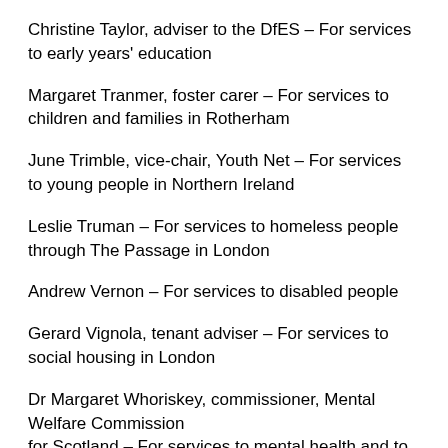Christine Taylor, adviser to the DfES – For services to early years' education
Margaret Tranmer, foster carer – For services to children and families in Rotherham
June Trimble, vice-chair, Youth Net – For services to young people in Northern Ireland
Leslie Truman – For services to homeless people through The Passage in London
Andrew Vernon – For services to disabled people
Gerard Vignola, tenant adviser – For services to social housing in London
Dr Margaret Whoriskey, commissioner, Mental Welfare Commission for Scotland – For services to mental health and to disabled people